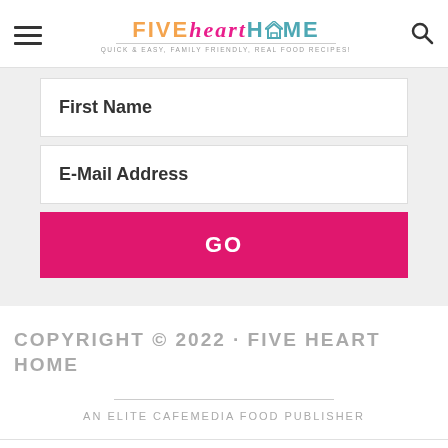FIVE heart HOME — Quick & Easy, Family Friendly, Real Food Recipes!
First Name
E-Mail Address
GO
COPYRIGHT © 2022 · FIVE HEART HOME
AN ELITE CAFEMEDIA FOOD PUBLISHER